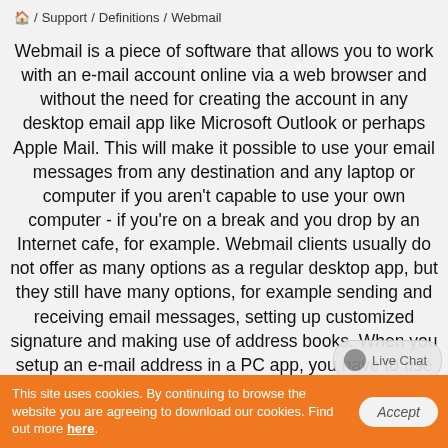🏠 / Support / Definitions / Webmail
Webmail is a piece of software that allows you to work with an e-mail account online via a web browser and without the need for creating the account in any desktop email app like Microsoft Outlook or perhaps Apple Mail. This will make it possible to use your email messages from any destination and any laptop or computer if you aren't capable to use your own computer - if you're on a break and you drop by an Internet cafe, for example. Webmail clients usually do not offer as many options as a regular desktop app, but they still have many options, for example sending and receiving email messages, setting up customized signature and making use of address books. When you setup an e-mail address in a PC app, you have to use the IMAP protocol in the process for those who like to view all messages later utilizing webmail, as the online app is unable to show e-mail messages from your PC if they have been
This site uses cookies. By continuing to browse the website you are agreeing to download our cookies. Find out more here.